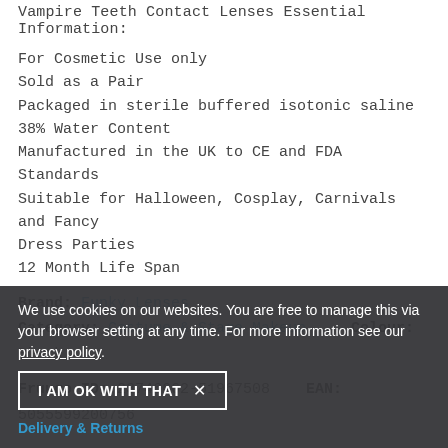Vampire Teeth Contact Lenses Essential Information:
For Cosmetic Use only
Sold as a Pair
Packaged in sterile buffered isotonic saline
38% Water Content
Manufactured in the UK to CE and FDA Standards
Suitable for Halloween, Cosplay, Carnivals and Fancy Dress Parties
12 Month Life Span
Brand: Funky Lenses
Category: Costume & Stage Makeup    Colour: Black
Fruugo ID: 23746662-51967508   EAN: 5055599200756
We use cookies on our websites. You are free to manage this via your browser setting at any time. For more information see our privacy policy.
I AM OK WITH THAT  X
Delivery & Returns